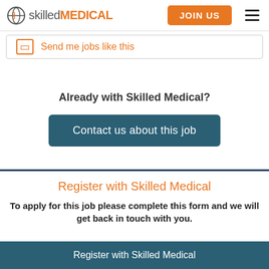[Figure (logo): Skilled Medical logo with orange pill icon and text]
Send me jobs like this
Already with Skilled Medical?
Contact us about this job
Register with Skilled Medical
To apply for this job please complete this form and we will get back in touch with you.
Register with Skilled Medical